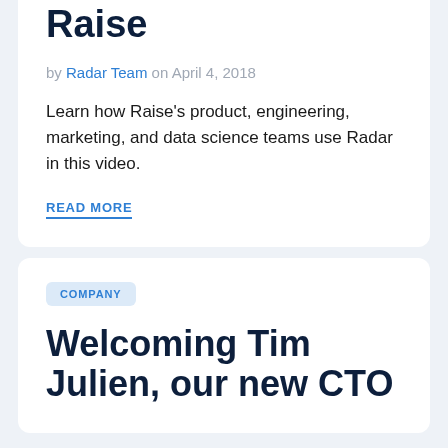Raise
by Radar Team on April 4, 2018
Learn how Raise's product, engineering, marketing, and data science teams use Radar in this video.
READ MORE
COMPANY
Welcoming Tim Julien, our new CTO